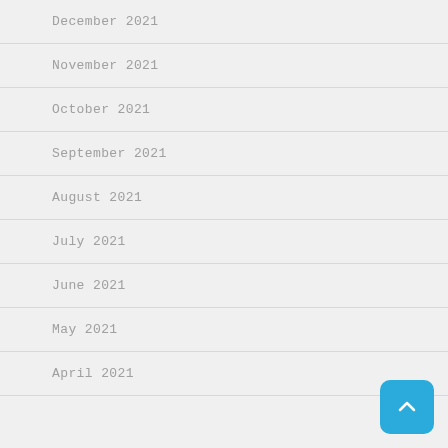December 2021
November 2021
October 2021
September 2021
August 2021
July 2021
June 2021
May 2021
April 2021